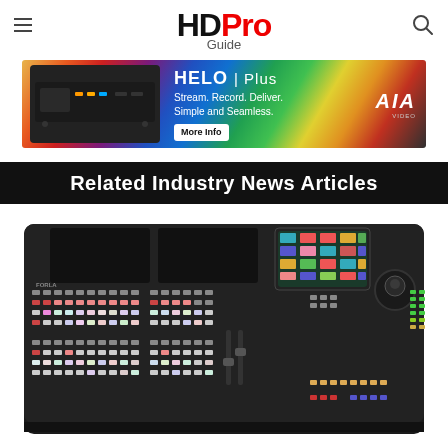HD Pro Guide
[Figure (photo): AIA HELO Plus advertisement banner: streaming device hardware on left, text 'HELO Plus Stream. Record. Deliver. Simple and Seamless.' with AIA logo and More Info button on colorful gradient background]
Related Industry News Articles
[Figure (photo): Photo of a professional broadcast video production switcher/mixer console (FORLA brand) with multiple rows of colorful illuminated buttons, a touchscreen display, joystick, and fader controls on a black body]